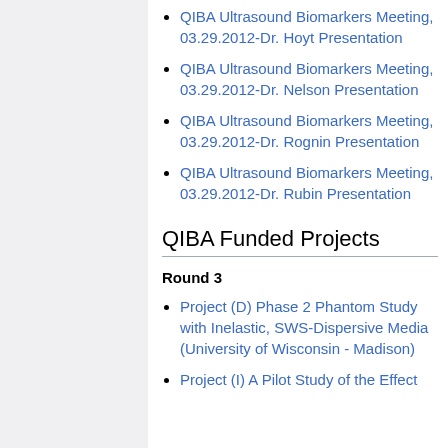QIBA Ultrasound Biomarkers Meeting, 03.29.2012-Dr. Hoyt Presentation
QIBA Ultrasound Biomarkers Meeting, 03.29.2012-Dr. Nelson Presentation
QIBA Ultrasound Biomarkers Meeting, 03.29.2012-Dr. Rognin Presentation
QIBA Ultrasound Biomarkers Meeting, 03.29.2012-Dr. Rubin Presentation
QIBA Funded Projects
Round 3
Project (D) Phase 2 Phantom Study with Inelastic, SWS-Dispersive Media (University of Wisconsin - Madison)
Project (I) A Pilot Study of the Effect